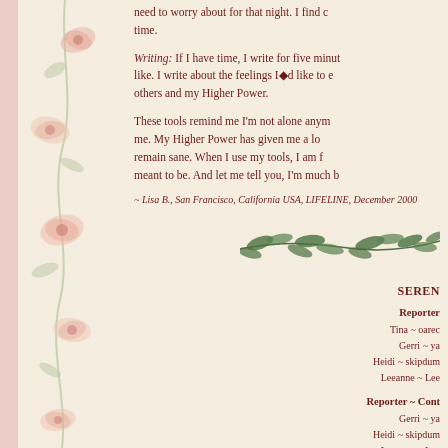Food Plan. Ah, my beloved food plan. It's one less thing I need to worry about for that night. I find comfort in this ritual time.
Writing: If I have time, I write for five minutes about what I like. I write about the feelings I'd like to express to others and my Higher Power.
These tools remind me I'm not alone anymore. They remind me. My Higher Power has given me a loving way to remain sane. When I use my tools, I am free to be as meant to be. And let me tell you, I'm much b...
~ Lisa B., San Francisco, California USA, LIFELINE, December 2000
[Figure (illustration): Green leafy branch/sprig decoration]
SEREN...
Reporter:
Tina ~ oarec...
Gerri ~ ya...
Heidi ~ skipdum...
Leeanne ~ Lee...
Reporter ~ Cont...
Gerri ~ ya...
Heidi ~ skipdum...
Leeanne ~ Lee...